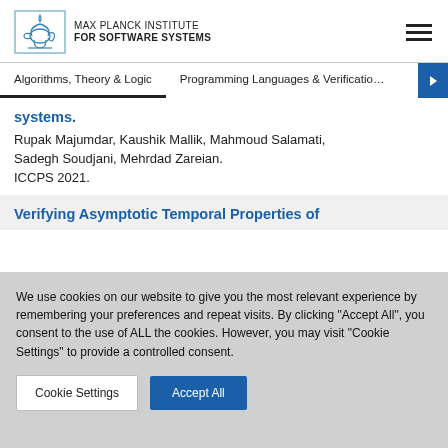[Figure (logo): Max Planck Institute for Software Systems logo with lamp/ewer icon and institute name text]
Algorithms, Theory & Logic | Programming Languages & Verification
systems.
Rupak Majumdar, Kaushik Mallik, Mahmoud Salamati, Sadegh Soudjani, Mehrdad Zareian. ICCPS 2021.
Verifying Asymptotic Temporal Properties of
We use cookies on our website to give you the most relevant experience by remembering your preferences and repeat visits. By clicking "Accept All", you consent to the use of ALL the cookies. However, you may visit "Cookie Settings" to provide a controlled consent.